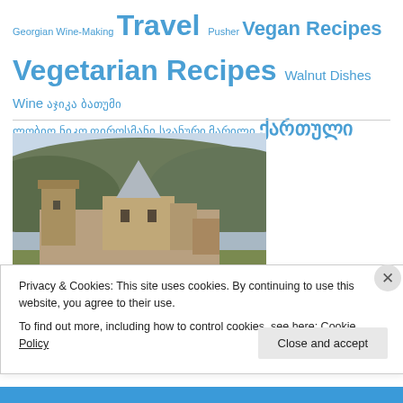Georgian Wine-Making Travel Pusher Vegan Recipes Vegetarian Recipes Walnut Dishes Wine აჯიკა ბათუმი ლობიო ნიკო ფიროსმანი სვანური მარილი ქართული სამზარეულო საჭაჭური
[Figure (photo): Photo of a medieval Georgian fortress/monastery complex with stone towers and church with conical spire, set against a hillside and river backdrop in winter]
Privacy & Cookies: This site uses cookies. By continuing to use this website, you agree to their use.
To find out more, including how to control cookies, see here: Cookie Policy
Close and accept